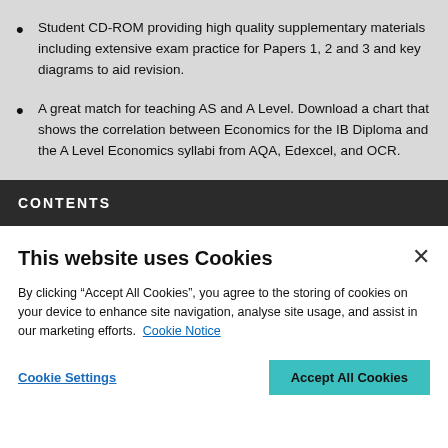Student CD-ROM providing high quality supplementary materials including extensive exam practice for Papers 1, 2 and 3 and key diagrams to aid revision.
A great match for teaching AS and A Level. Download a chart that shows the correlation between Economics for the IB Diploma and the A Level Economics syllabi from AQA, Edexcel, and OCR.
CONTENTS
This website uses Cookies
By clicking “Accept All Cookies”, you agree to the storing of cookies on your device to enhance site navigation, analyse site usage, and assist in our marketing efforts. Cookie Notice